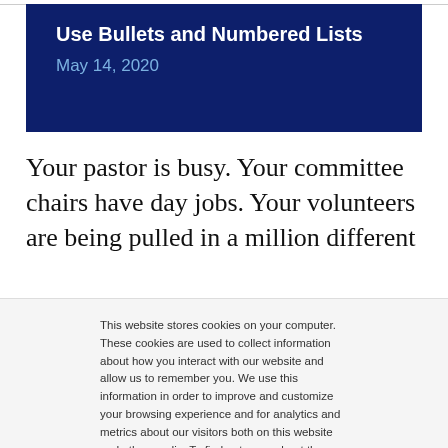Use Bullets and Numbered Lists
May 14, 2020
Your pastor is busy. Your committee chairs have day jobs. Your volunteers are being pulled in a million different
This website stores cookies on your computer. These cookies are used to collect information about how you interact with our website and allow us to remember you. We use this information in order to improve and customize your browsing experience and for analytics and metrics about our visitors both on this website and other media. To find out more about the cookies we use, see our Privacy Policy
Accept